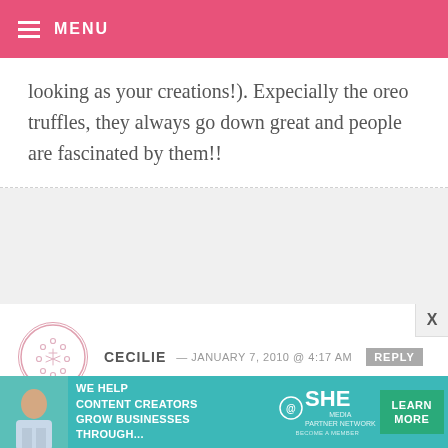MENU
looking as your creations!). Expecially the oreo truffles, they always go down great and people are fascinated by them!!
CECILIE — JANUARY 7, 2010 @ 4:17 AM  REPLY
Hi Bakerella. I love your blog and you are just so creative!
Emelie: kjempesøte iskaker!
Love from a cold, oh so cold, Oslo –
[Figure (infographic): SHE Media partner network advertisement banner with woman photo, text 'We help content creators grow businesses through...', SHE logo, and green 'Learn More' button]